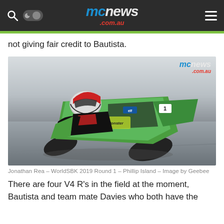mcnews .com.au
not giving fair credit to Bautista.
[Figure (photo): Jonathan Rea leaning into a corner on a green Kawasaki motorcycle during WorldSBK 2019 Round 1 at Phillip Island, mcnews.com.au watermark visible top right]
Jonathan Rea – WorldSBK 2019 Round 1 – Phillip Island – Image by Geebee
There are four V4 R's in the field at the moment, Bautista and team mate Davies who both have the